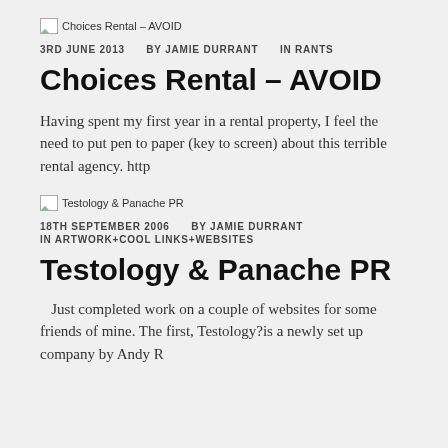[Figure (other): Broken image thumbnail for 'Choices Rental – AVOID']
3RD JUNE 2013    BY JAMIE DURRANT    IN RANTS
Choices Rental – AVOID
Having spent my first year in a rental property, I feel the need to put pen to paper (key to screen) about this terrible rental agency. http
[Figure (other): Broken image thumbnail for 'Testology & Panache PR']
18TH SEPTEMBER 2006    BY JAMIE DURRANT    IN ARTWORK+COOL LINKS+WEBSITES
Testology & Panache PR
Just completed work on a couple of websites for some friends of mine. The first, Testology?is a newly set up company by Andy R